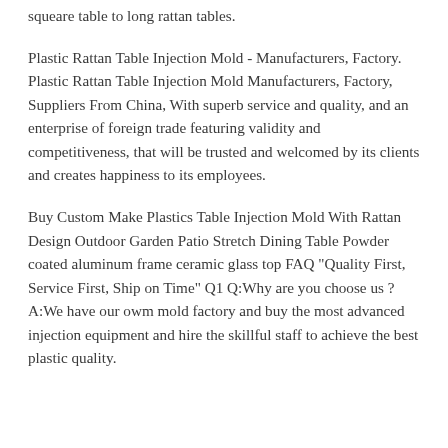squeare table to long rattan tables.
Plastic Rattan Table Injection Mold - Manufacturers, Factory. Plastic Rattan Table Injection Mold Manufacturers, Factory, Suppliers From China, With superb service and quality, and an enterprise of foreign trade featuring validity and competitiveness, that will be trusted and welcomed by its clients and creates happiness to its employees.
Buy Custom Make Plastics Table Injection Mold With Rattan Design Outdoor Garden Patio Stretch Dining Table Powder coated aluminum frame ceramic glass top FAQ "Quality First, Service First, Ship on Time" Q1 Q:Why are you choose us ? A:We have our owm mold factory and buy the most advanced injection equipment and hire the skillful staff to achieve the best plastic quality.